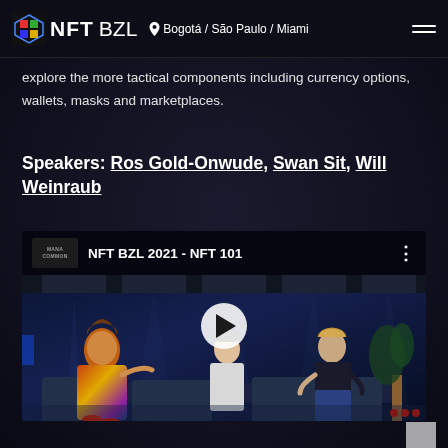NFT BZL — Bogotá / São Paulo / Miami
explore the more tactical components including currency options, wallets, masks and marketplaces.
Speakers: Ros Gold-Onwude, Swan Sit, Will Weinraub
[Figure (screenshot): YouTube video thumbnail for NFT BZL 2021 - NFT 101, showing three speakers seated on a stage with a play button overlay. MANA COMMON logo visible in top left of video player.]